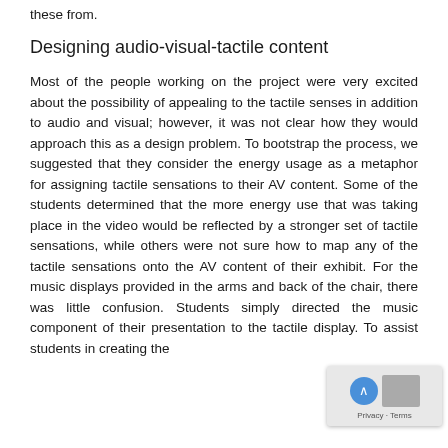these from.
Designing audio-visual-tactile content
Most of the people working on the project were very excited about the possibility of appealing to the tactile senses in addition to audio and visual; however, it was not clear how they would approach this as a design problem. To bootstrap the process, we suggested that they consider the energy usage as a metaphor for assigning tactile sensations to their AV content. Some of the students determined that the more energy use that was taking place in the video would be reflected by a stronger set of tactile sensations, while others were not sure how to map any of the tactile sensations onto the AV content of their exhibit. For the music displays provided in the arms and back of the chair, there was little confusion. Students simply directed the music component of their presentation to the tactile display. To assist students in creating the